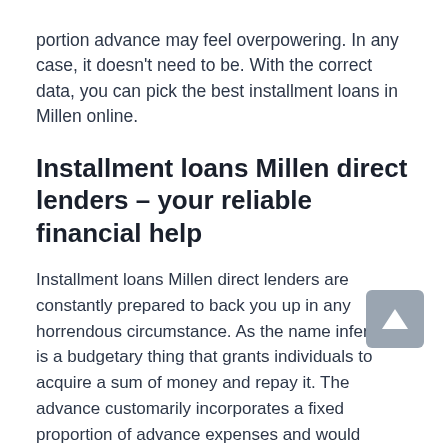portion advance may feel overpowering. In any case, it doesn't need to be. With the correct data, you can pick the best installment loans in Millen online.
Installment loans Millen direct lenders – your reliable financial help
Installment loans Millen direct lenders are constantly prepared to back you up in any horrendous circumstance. As the name infers, it is a budgetary thing that grants individuals to acquire a sum of money and repay it. The advance customarily incorporates a fixed proportion of advance expenses and would require the borrower to make installments.
Certainly, online installment loans Millen in Georgia have some obligations. Be that as it may, there are a lot of direct loan specialists both on the web and in your general vicinity. In this manner, you can locate the low-interest